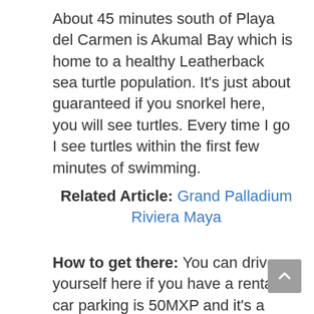About 45 minutes south of Playa del Carmen is Akumal Bay which is home to a healthy Leatherback sea turtle population. It's just about guaranteed if you snorkel here, you will see turtles. Every time I go I see turtles within the first few minutes of swimming.
Related Article: Grand Palladium Riviera Maya
How to get there: You can drive yourself here if you have a rental car parking is 50MXP and it's a short walk from the parking lot to the beach.